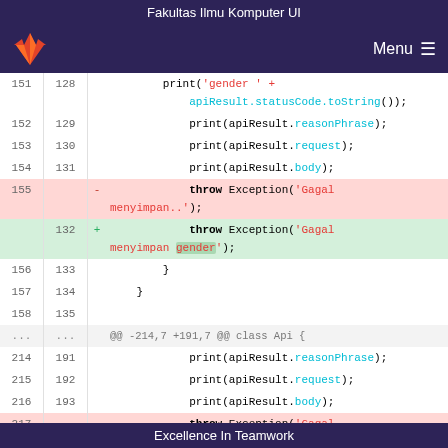Fakultas Ilmu Komputer UI
[Figure (screenshot): GitLab navigation bar with fox logo and Menu button on dark purple background]
Code diff view showing lines 151-158/128-135 and 214-217/191-193 with deleted and added lines for throw Exception messages in Dart/Flutter code
Excellence In Teamwork